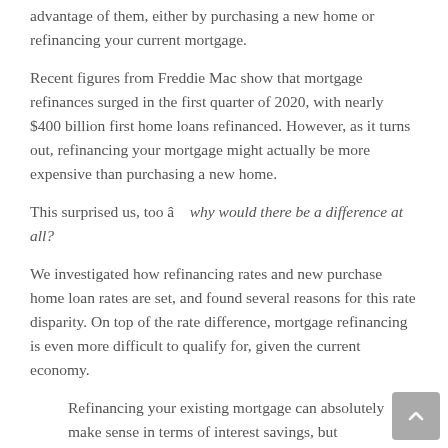advantage of them, either by purchasing a new home or refinancing your current mortgage.
Recent figures from Freddie Mac show that mortgage refinances surged in the first quarter of 2020, with nearly $400 billion first home loans refinanced. However, as it turns out, refinancing your mortgage might actually be more expensive than purchasing a new home.
This surprised us, too â   why would there be a difference at all?
We investigated how refinancing rates and new purchase home loan rates are set, and found several reasons for this rate disparity. On top of the rate difference, mortgage refinancing is even more difficult to qualify for, given the current economy.
Refinancing your existing mortgage can absolutely make sense in terms of interest savings, but